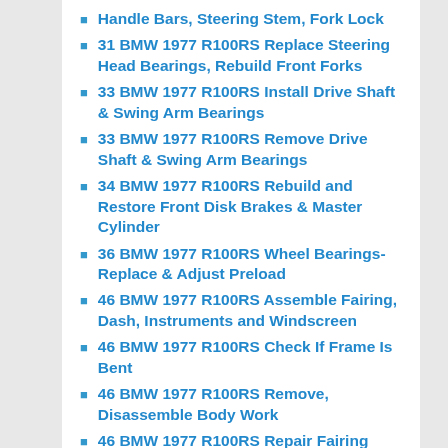Handle Bars, Steering Stem, Fork Lock
31 BMW 1977 R100RS Replace Steering Head Bearings, Rebuild Front Forks
33 BMW 1977 R100RS Install Drive Shaft & Swing Arm Bearings
33 BMW 1977 R100RS Remove Drive Shaft & Swing Arm Bearings
34 BMW 1977 R100RS Rebuild and Restore Front Disk Brakes & Master Cylinder
36 BMW 1977 R100RS Wheel Bearings- Replace & Adjust Preload
46 BMW 1977 R100RS Assemble Fairing, Dash, Instruments and Windscreen
46 BMW 1977 R100RS Check If Frame Is Bent
46 BMW 1977 R100RS Remove, Disassemble Body Work
46 BMW 1977 R100RS Repair Fairing Panels & Side Covers
52 BMW 1977 R100RS Assemble and Install Seat and Cowl
61 BMW 1977 R100RS Refurbish and Install Wiring & Electrical Components